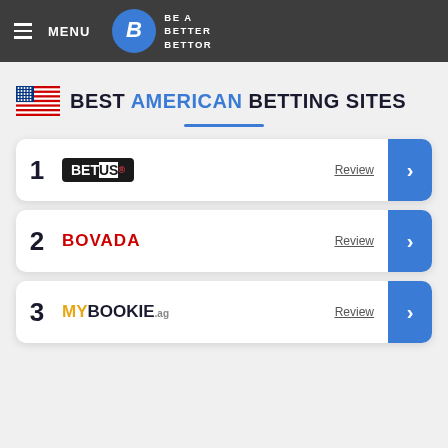MENU | BE A BETTER BETTOR
BEST AMERICAN BETTING SITES
1 BetUS Review
2 BOVADA Review
3 MYBOOKIE Review